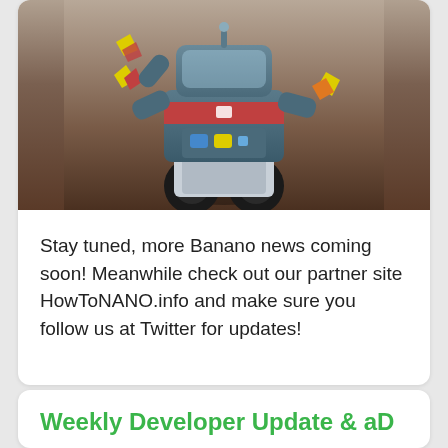[Figure (illustration): 3D rendered robot character with blocky body, yellow hands/feet, red chest panel, blue and yellow buttons, on a dark brown background]
Stay tuned, more Banano news coming soon! Meanwhile check out our partner site HowToNANO.info and make sure you follow us at Twitter for updates!
Weekly Developer Update & aD